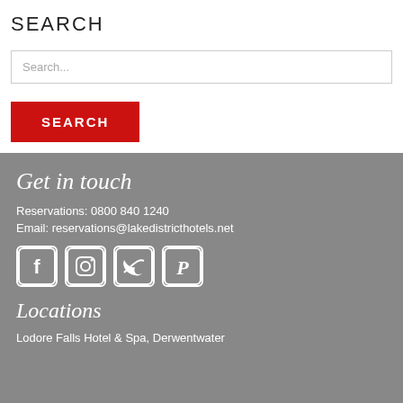SEARCH
Search...
SEARCH
Get in touch
Reservations: 0800 840 1240
Email: reservations@lakedistricthotels.net
[Figure (illustration): Social media icons: Facebook, Instagram, Twitter, Pinterest]
Locations
Lodore Falls Hotel & Spa, Derwentwater